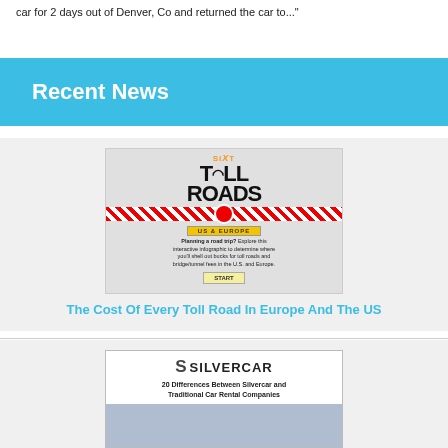car for 2 days out of Denver, Co and returned the car to..."
Recent News
[Figure (infographic): Sixt Toll Roads US & Europe interactive infographic. Bold text reads TOLL ROADS with a steering wheel icon. Subtitle: Planning a road trip? Explore this interactive infographic to determine where you'll shell out bucks for toll roads and bridge/tunnel fees in the U.S. and Europe. START button shown.]
The Cost Of Every Toll Road In Europe And The US
[Figure (infographic): Silvercar logo with tagline: 20 Differences Between Silvercar and Traditional Car Rental Companies]